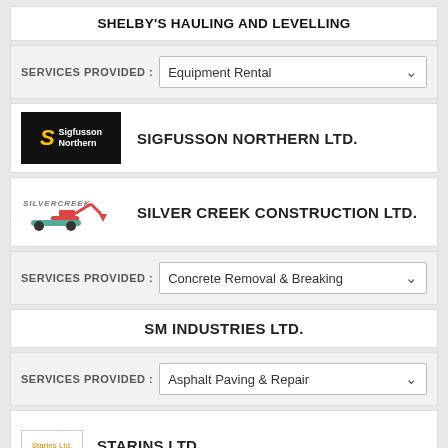SHELBY'S HAULING AND LEVELLING
SERVICES PROVIDED : Equipment Rental
SIGFUSSON NORTHERN LTD.
SILVER CREEK CONSTRUCTION LTD.
SERVICES PROVIDED : Concrete Removal & Breaking
SM INDUSTRIES LTD.
SERVICES PROVIDED : Asphalt Paving & Repair
STARINS LTD.